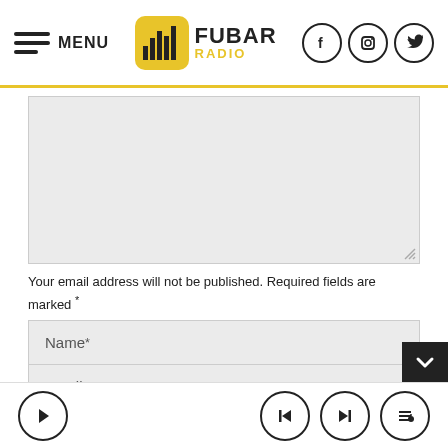MENU | FUBAR RADIO
[Figure (screenshot): Large gray comment textarea input box]
Your email address will not be published. Required fields are marked *
| Name* |
| Email* |
| Website |
Save my name, email, and website in this browser for the next time I comment.
Notify me of follow-up comments by email.
Media player controls: play, skip back, skip forward, playlist